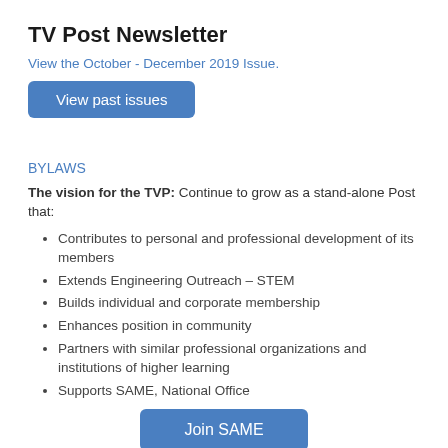TV Post Newsletter
View the October - December 2019 Issue.
View past issues
BYLAWS
The vision for the TVP: Continue to grow as a stand-alone Post that:
Contributes to personal and professional development of its members
Extends Engineering Outreach – STEM
Builds individual and corporate membership
Enhances position in community
Partners with similar professional organizations and institutions of higher learning
Supports SAME, National Office
Join SAME
Coming soon...